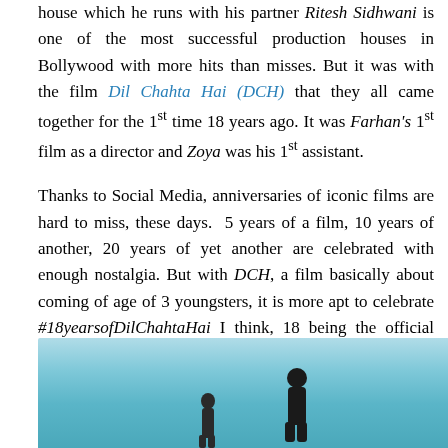house which he runs with his partner Ritesh Sidhwani is one of the most successful production houses in Bollywood with more hits than misses. But it was with the film Dil Chahta Hai (DCH) that they all came together for the 1st time 18 years ago. It was Farhan's 1st film as a director and Zoya was his 1st assistant.
Thanks to Social Media, anniversaries of iconic films are hard to miss, these days.  5 years of a film, 10 years of another, 20 years of yet another are celebrated with enough nostalgia. But with DCH, a film basically about coming of age of 3 youngsters, it is more apt to celebrate #18yearsofDilChahtaHai I think, 18 being the official "coming of age" number in our society!
[Figure (photo): Bottom portion of a photo showing two silhouetted figures against a blue sky and sea/water background]